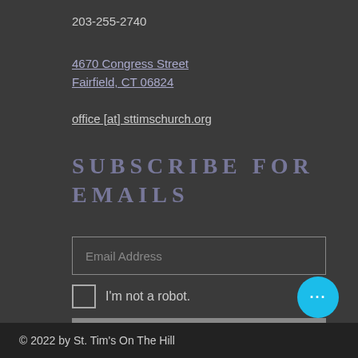203-255-2740
4670 Congress Street
Fairfield, CT 06824
office [at] sttimschurch.org
SUBSCRIBE FOR EMAILS
Email Address
I'm not a robot.
Subscribe Now
[Figure (other): Facebook and Twitter social media icon buttons]
© 2022 by St. Tim's On The Hill